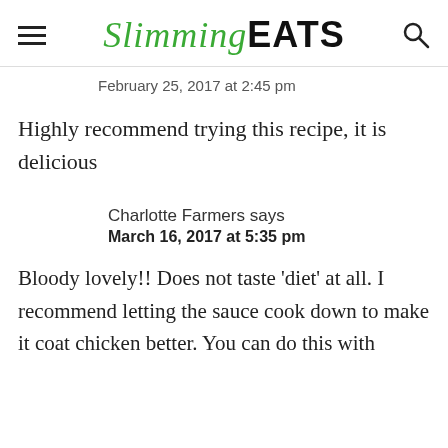Slimming EATS
February 25, 2017 at 2:45 pm
Highly recommend trying this recipe, it is delicious
Charlotte Farmers says
March 16, 2017 at 5:35 pm
Bloody lovely!! Does not taste 'diet' at all. I recommend letting the sauce cook down to make it coat chicken better. You can do this with